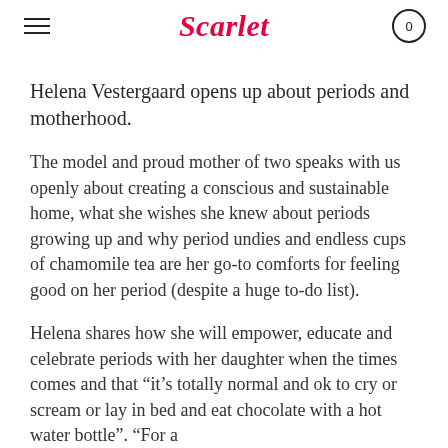Scarlet
Helena Vestergaard opens up about periods and motherhood.
The model and proud mother of two speaks with us openly about creating a conscious and sustainable home, what she wishes she knew about periods growing up and why period undies and endless cups of chamomile tea are her go-to comforts for feeling good on her period (despite a huge to-do list).
Helena shares how she will empower, educate and celebrate periods with her daughter when the times comes and that "it's totally normal and ok to cry or scream or lay in bed and eat chocolate with a hot water bottle". "For a